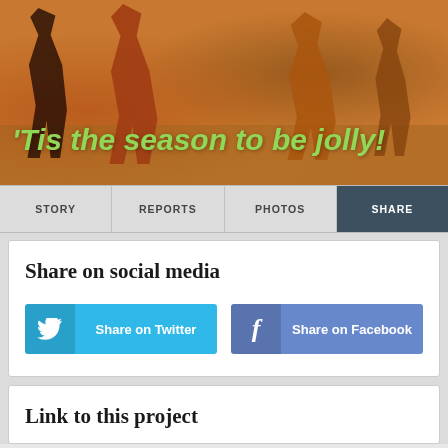[Figure (photo): Children bending over on a dirt field with text overlay: 'Tis the season to be jolly!']
STORY | REPORTS | PHOTOS | SHARE
Share on social media
Share on Twitter
Share on Facebook
Link to this project